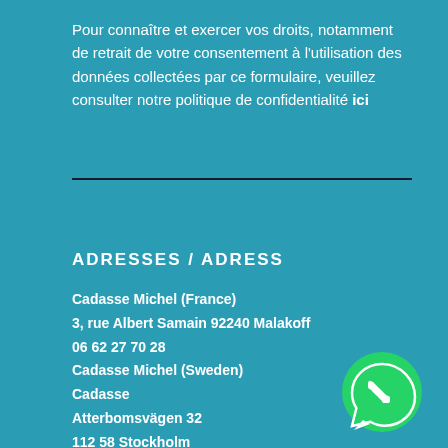Pour connaître et exercer vos droits, notamment de retrait de votre consentement à l'utilisation des données collectées par ce formulaire, veuillez consulter notre politique de confidentialité ici
ADRESSES / ADRESS
Cadasse Michel (France)
3, rue Albert Samain 92240 Malakoff
06 62 27 70 28
Cadasse Michel (Sweden)
Cadasse
Atterbomsvägen 32
112 58 Stockholm
[Figure (logo): WhatsApp logo icon — green circle with white phone handset speech bubble]